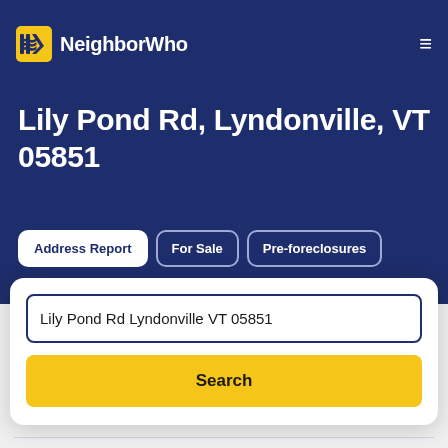NeighborWho
Lily Pond Rd, Lyndonville, VT 05851
Address Report | For Sale | Pre-foreclosures
Lily Pond Rd Lyndonville VT 05851
Search
Search